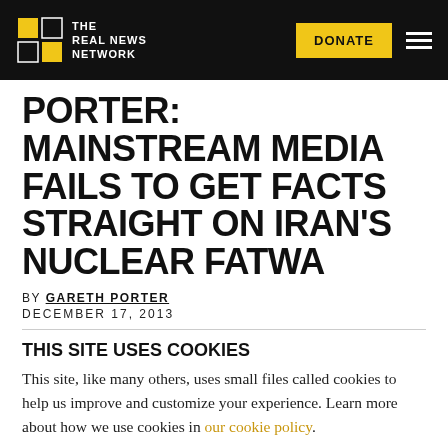The Real News Network — DONATE
PORTER: MAINSTREAM MEDIA FAILS TO GET FACTS STRAIGHT ON IRAN'S NUCLEAR FATWA
BY GARETH PORTER
DECEMBER 17, 2013
THIS SITE USES COOKIES
This site, like many others, uses small files called cookies to help us improve and customize your experience. Learn more about how we use cookies in our cookie policy.
Learn more about cookies  OK